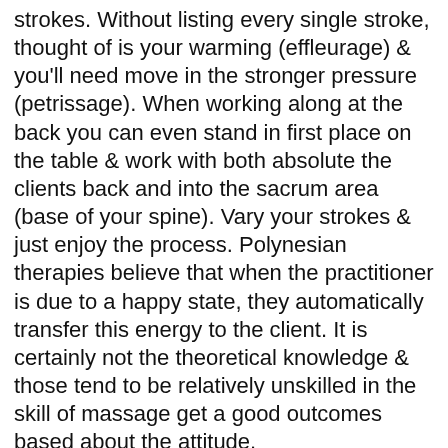strokes. Without listing every single stroke, thought of is your warming (effleurage) & you'll need move in the stronger pressure (petrissage). When working along at the back you can even stand in first place on the table & work with both absolute the clients back and into the sacrum area (base of your spine). Vary your strokes & just enjoy the process. Polynesian therapies believe that when the practitioner is due to a happy state, they automatically transfer this energy to the client. It is certainly not the theoretical knowledge & those tend to be relatively unskilled in the skill of massage get a good outcomes based about the attitude.
Powerful relaxant-no other medicine as natural as a massage tends to make someone feel invigorated aside from worry free after spending at least an